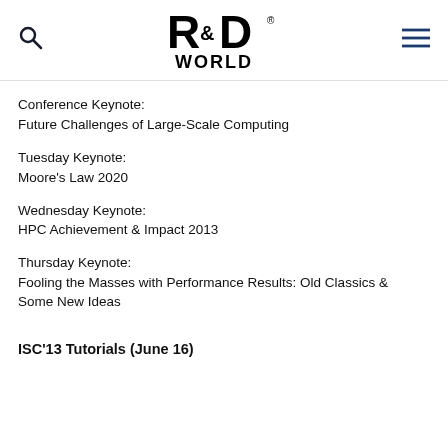R&D WORLD logo with search and menu icons
Conference Keynote:
Future Challenges of Large-Scale Computing
Tuesday Keynote:
Moore's Law 2020
Wednesday Keynote:
HPC Achievement & Impact 2013
Thursday Keynote:
Fooling the Masses with Performance Results: Old Classics & Some New Ideas
ISC'13 Tutorials (June 16)